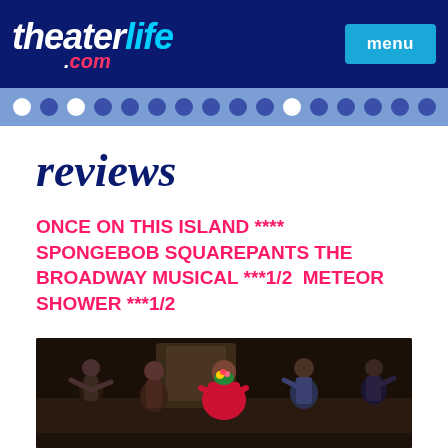theaterlife.com | menu
reviews
ONCE ON THIS ISLAND **** SPONGEBOB SQUAREPANTS THE BROADWAY MUSICAL ***1/2  METEOR SHOWER ***1/2
[Figure (photo): A theatrical performance scene from 'Once on This Island' showing performers on stage in colorful costumes, with a central female performer in a red dress holding flowers, surrounded by other cast members dancing and celebrating.]